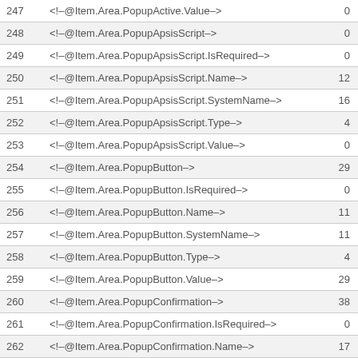|  |  |  |
| --- | --- | --- |
| 247 | <!--@Item.Area.PopupActive.Value--> | 0 |
| 248 | <!--@Item.Area.PopupApsisScript--> | 0 |
| 249 | <!--@Item.Area.PopupApsisScript.IsRequired--> | 0 |
| 250 | <!--@Item.Area.PopupApsisScript.Name--> | 12 |
| 251 | <!--@Item.Area.PopupApsisScript.SystemName--> | 16 |
| 252 | <!--@Item.Area.PopupApsisScript.Type--> | 4 |
| 253 | <!--@Item.Area.PopupApsisScript.Value--> | 0 |
| 254 | <!--@Item.Area.PopupButton--> | 29 |
| 255 | <!--@Item.Area.PopupButton.IsRequired--> | 0 |
| 256 | <!--@Item.Area.PopupButton.Name--> | 11 |
| 257 | <!--@Item.Area.PopupButton.SystemName--> | 11 |
| 258 | <!--@Item.Area.PopupButton.Type--> | 4 |
| 259 | <!--@Item.Area.PopupButton.Value--> | 29 |
| 260 | <!--@Item.Area.PopupConfirmation--> | 38 |
| 261 | <!--@Item.Area.PopupConfirmation.IsRequired--> | 0 |
| 262 | <!--@Item.Area.PopupConfirmation.Name--> | 17 |
| 263 | <!--@Item.Area.PopupConfirmation.SystemName--> | 17 |
| 264 | <!--@Item.Area.PopupConfirmation.Type--> | 9 |